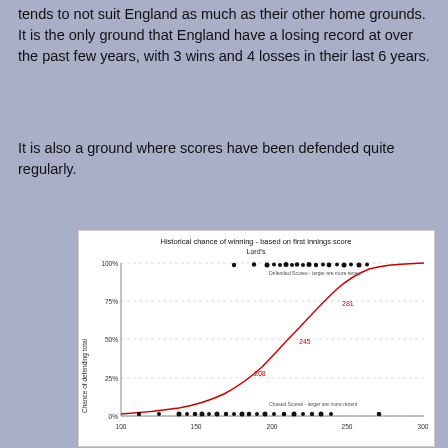tends to not suit England as much as their other home grounds. It is the only ground that England have a losing record at over the past few years, with 3 wins and 4 losses in their last 6 years.
It is also a ground where scores have been defended quite regularly.
[Figure (continuous-plot): S-curve (logistic regression) showing chance of defending total vs first innings score at Lord's. Y-axis: 0% to 100%. X-axis: 100 to 350+. Annotated points at 208 (25%), 245 (50%), 281 (75%). Scatter dots at top (defended scores) and bottom (chased scores). Red sigmoid curve.]